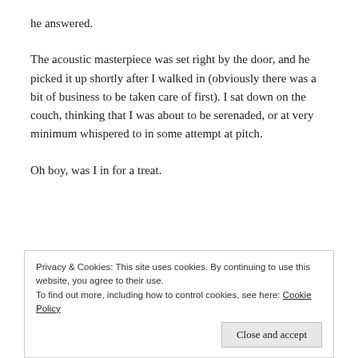he answered.
The acoustic masterpiece was set right by the door, and he picked it up shortly after I walked in (obviously there was a bit of business to be taken care of first). I sat down on the couch, thinking that I was about to be serenaded, or at very minimum whispered to in some attempt at pitch.
Oh boy, was I in for a treat.
Privacy & Cookies: This site uses cookies. By continuing to use this website, you agree to their use.
To find out more, including how to control cookies, see here: Cookie Policy
Close and accept